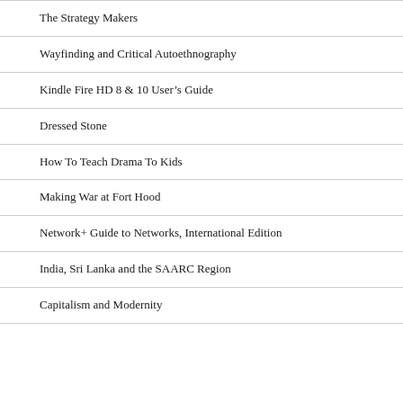The Strategy Makers
Wayfinding and Critical Autoethnography
Kindle Fire HD 8 & 10 User's Guide
Dressed Stone
How To Teach Drama To Kids
Making War at Fort Hood
Network+ Guide to Networks, International Edition
India, Sri Lanka and the SAARC Region
Capitalism and Modernity